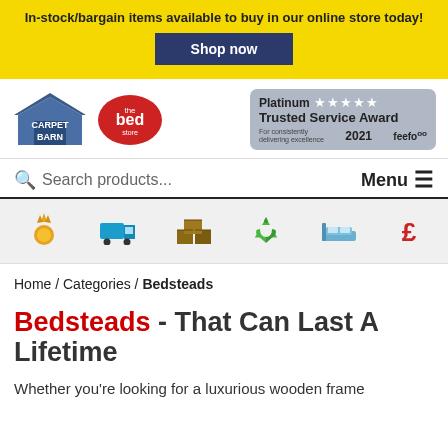In-stock/bargain items available to buy in our online store today! Shop now
[Figure (logo): Carpet Barn and The Bed Store logos, plus Platinum Trusted Service Award 2021 Feefo badge]
Search products... Menu
[Figure (infographic): Icon strip with six icons: medal, delivery truck, boxes, recycling, bed, pound sign]
Home / Categories / Bedsteads
Bedsteads - That Can Last A Lifetime
Whether you're looking for a luxurious wooden frame